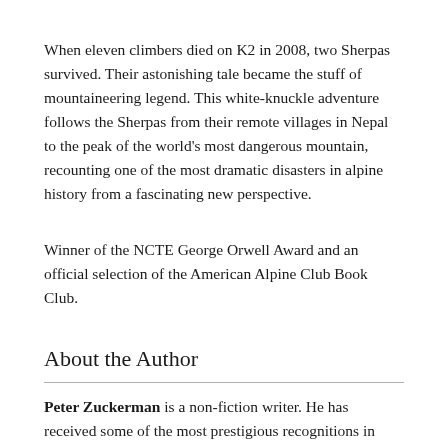When eleven climbers died on K2 in 2008, two Sherpas survived. Their astonishing tale became the stuff of mountaineering legend. This white-knuckle adventure follows the Sherpas from their remote villages in Nepal to the peak of the world's most dangerous mountain, recounting one of the most dramatic disasters in alpine history from a fascinating new perspective.
Winner of the NCTE George Orwell Award and an official selection of the American Alpine Club Book Club.
About the Author
Peter Zuckerman is a non-fiction writer. He has received some of the most prestigious recognitions in American journalism. At age 26 he won the Livingston Award, the largest, all-media, general reporting prize in America. His writing has also received is the